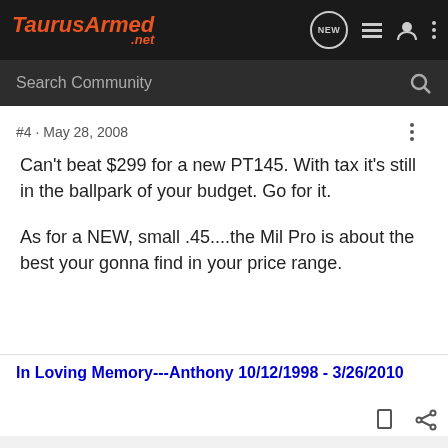TaurusArmed.net
Search Community
#4 · May 28, 2008
Can't beat $299 for a new PT145. With tax it's still in the ballpark of your budget. Go for it.

As for a NEW, small .45....the Mil Pro is about the best your gonna find in your price range.
In Loving Memory---Anthony 10/12/1998 - 3/26/2010